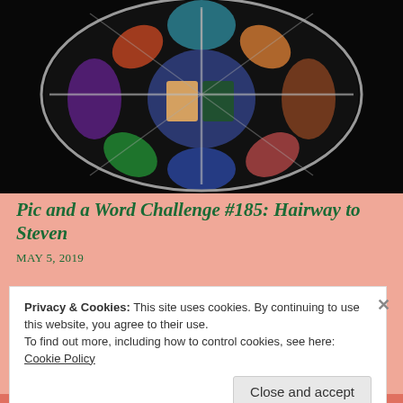[Figure (photo): Stained glass rose window photograph against dark background, showing colorful religious imagery divided into petal-shaped panes]
Pic and a Word Challenge #185: Hairway to Steven
MAY 5, 2019
Privacy & Cookies: This site uses cookies. By continuing to use this website, you agree to their use.
To find out more, including how to control cookies, see here:
Cookie Policy
Close and accept